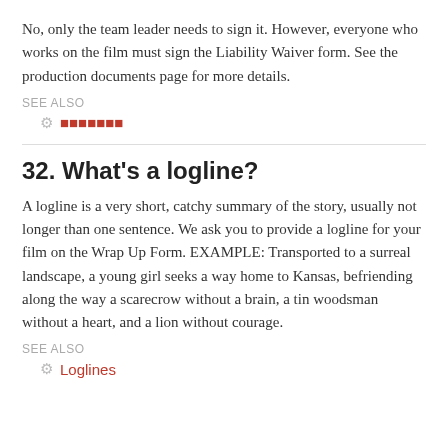No, only the team leader needs to sign it. However, everyone who works on the film must sign the Liability Waiver form. See the production documents page for more details.
SEE ALSO
🔗 [redacted link text in red]
32. What's a logline?
A logline is a very short, catchy summary of the story, usually not longer than one sentence. We ask you to provide a logline for your film on the Wrap Up Form. EXAMPLE: Transported to a surreal landscape, a young girl seeks a way home to Kansas, befriending along the way a scarecrow without a brain, a tin woodsman without a heart, and a lion without courage.
SEE ALSO
Loglines